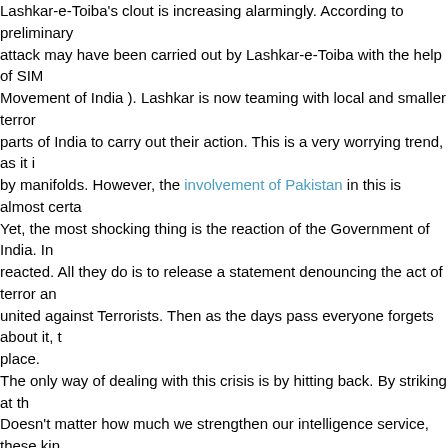Lashkar-e-Toiba's clout is increasing alarmingly. According to preliminary attack may have been carried out by Lashkar-e-Toiba with the help of SIM Movement of India ). Lashkar is now teaming with local and smaller terror parts of India to carry out their action. This is a very worrying trend, as it i by manifolds. However, the involvement of Pakistan in this is almost certa Yet, the most shocking thing is the reaction of the Government of India. In reacted. All they do is to release a statement denouncing the act of terror an united against Terrorists. Then as the days pass everyone forgets about it, t place. The only way of dealing with this crisis is by hitting back. By striking at th Doesn't matter how much we strengthen our intelligence service, these kin happening. The terrorists are bound to succeed at least one out of every 10 densely populated country with a lot of soft spots which can be easily targe it is surrounded by countries like Pakistan, Nepal and Bangladesh where IS have considerable influence. The security agencies has managed to thwart In May, this year 43kg of RDX along with large number of Grenades and A Maharashtra. However, it will fail , and when it fails the concequences will It is no secret that terrorist groups like Lashkar-e-Toiba, Harakat ul-Mujahi Jaish-e-Mohammed, are based in Pakistan and is supported in various way Pakistan. In spite of several requests from India the Government of Pakista solid action against these groups. India has been assaulted repeatedly, and